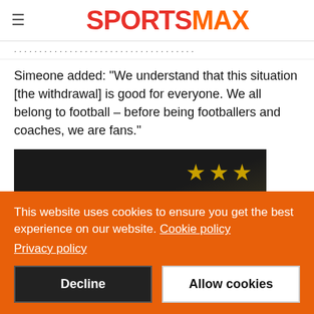SPORTSMAX
Simeone added: "We understand that this situation [the withdrawal] is good for everyone. We all belong to football – before being footballers and coaches, we are fans."
[Figure (photo): Dark background with gold stars on fabric, EUROPEAN SUPER LEAGUE label and JUVENTUS text visible]
This website uses cookies to ensure you get the best experience on our website. Cookie policy
Privacy policy
Decline | Allow cookies